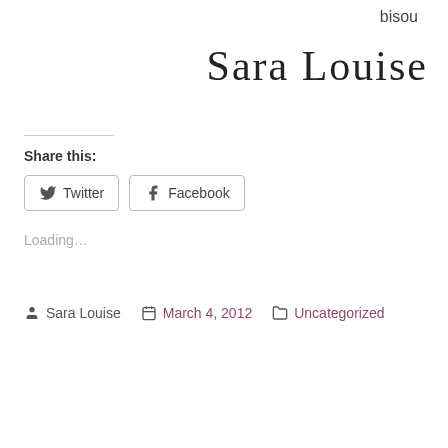bisou
[Figure (illustration): Handwritten cursive signature reading 'Sara Louise']
Share this:
Twitter  Facebook
Loading...
Sara Louise   March 4, 2012   Uncategorized